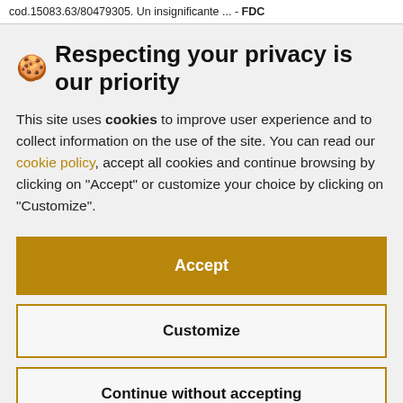cod.15083.63/80479305. Un insignificante ... - FDC
🍪 Respecting your privacy is our priority
This site uses cookies to improve user experience and to collect information on the use of the site. You can read our cookie policy, accept all cookies and continue browsing by clicking on "Accept" or customize your choice by clicking on "Customize".
Accept
Customize
Continue without accepting